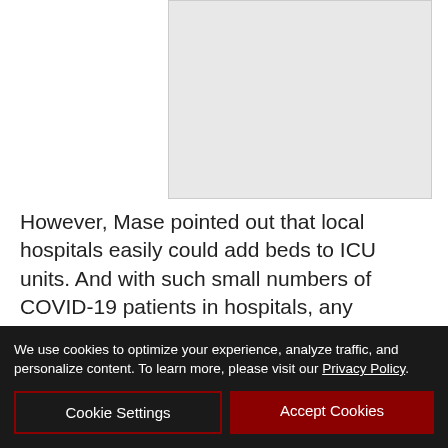[Figure (photo): Partially visible image placeholder at top right of page]
However, Mase pointed out that local hospitals easily could add beds to ICU units. And with such small numbers of COVID-19 patients in hospitals, any numerical increase causes a large short-term percentage jump.
Dr. Chad Krilich, chief medical officer for St. Joseph Health Sonoma County, which operates Santa Rosa Memorial and Petaluma Valley hospitals, said there has
We use cookies to optimize your experience, analyze traffic, and personalize content. To learn more, please visit our Privacy Policy.
Cookie Settings
Accept Cookies